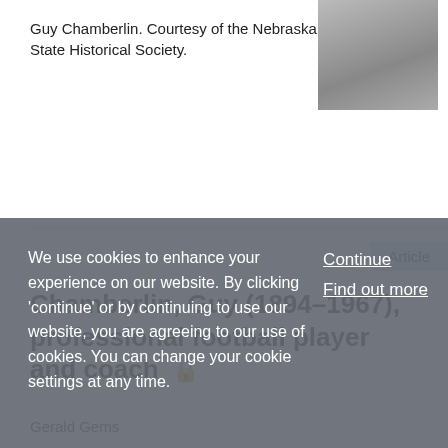Guy Chamberlin. Courtesy of the Nebraska State Historical Society.
[Figure (photo): Black and white photograph of Guy Chamberlin]
Article
Chamberlin, Guy (1894–1967), professional football player and coach
Gerald Gems
Published in print: 1999
Published online: February 2000
Chamberlin, Guy (14 January 1894–4 April 1967)
We use cookies to enhance your experience on our website. By clicking 'continue' or by continuing to use our website, you are agreeing to our use of cookies. You can change your cookie settings at any time.
Continue
Find out more